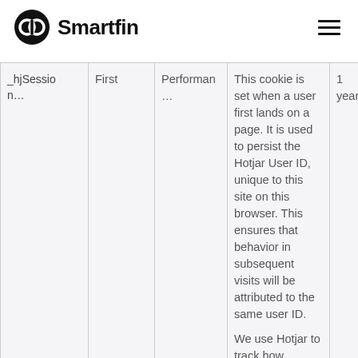Smartfin
| Name | Party | Category | Description | Duration |
| --- | --- | --- | --- | --- |
| _hjSession… | First | Performan… | This cookie is set when a user first lands on a page. It is used to persist the Hotjar User ID, unique to this site on this browser. This ensures that behavior in subsequent visits will be attributed to the same user ID.

We use Hotjar to track how visitors use our site so that we can optimize the experience for our users. | 1 year |
| _hjAbsolu… | First | Performan… | This cookie is set to let Hotjar detect the first pageview session of a user. This is a True/False… | 30 mins |